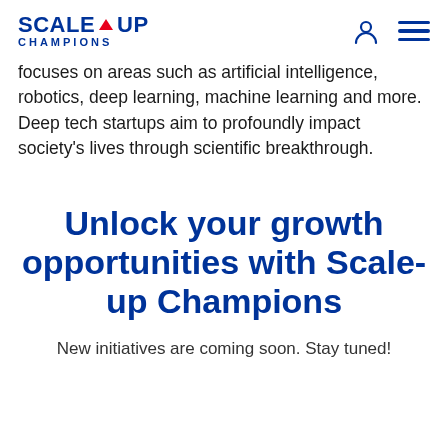SCALE-UP CHAMPIONS
focuses on areas such as artificial intelligence, robotics, deep learning, machine learning and more. Deep tech startups aim to profoundly impact society's lives through scientific breakthrough.
Unlock your growth opportunities with Scale-up Champions
New initiatives are coming soon. Stay tuned!